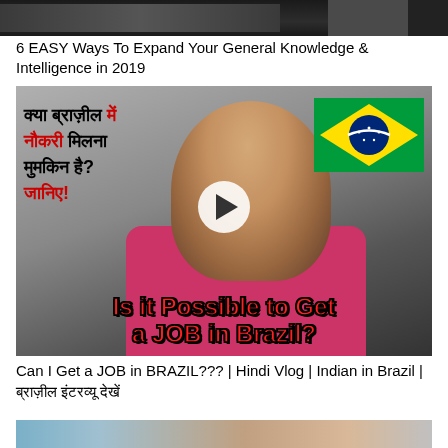[Figure (screenshot): Top cropped thumbnail image - dark/night scene]
6 EASY Ways To Expand Your General Knowledge & Intelligence in 2019
[Figure (screenshot): YouTube video thumbnail: Hindi text asking 'Can you get a job in Brazil?' with a young Indian man, Brazil flag, and overlay text 'Is it Possible to Get a JOB in Brazil?' with play button]
Can I Get a JOB in BRAZIL??? | Hindi Vlog | Indian in Brazil | ब्राज़ील इंटरव्यू देखें
[Figure (photo): Bottom partially visible photo of a man in front of a brick building]